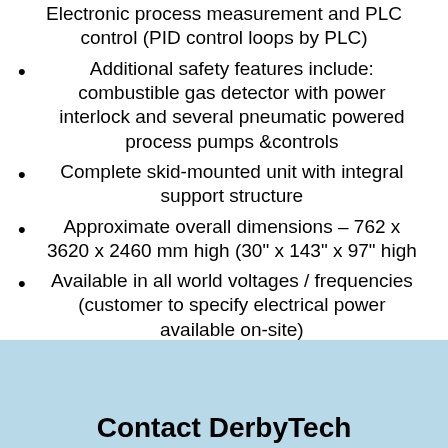Electronic process measurement and PLC control (PID control loops by PLC)
Additional safety features include: combustible gas detector with power interlock and several pneumatic powered process pumps &controls
Complete skid-mounted unit with integral support structure
Approximate overall dimensions – 762 x 3620 x 2460 mm high (30" x 143" x 97" high
Available in all world voltages / frequencies (customer to specify electrical power available on-site)
Contact DerbyTech